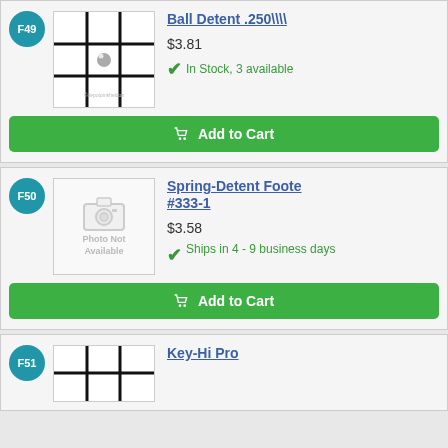F49 - Ball Detent .250\\\\ - $3.81 - In Stock, 3 available
F50 - Spring-Detent Foote #333-1 - $3.58 - Ships in 4 - 9 business days
F51 - Key-Hi Pro